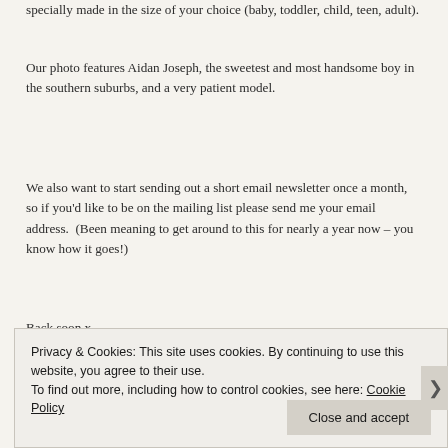specially made in the size of your choice (baby, toddler, child, teen, adult).
Our photo features Aidan Joseph, the sweetest and most handsome boy in the southern suburbs, and a very patient model.
We also want to start sending out a short email newsletter once a month, so if you'd like to be on the mailing list please send me your email address.  (Been meaning to get around to this for nearly a year now – you know how it goes!)
Back soon x
Privacy & Cookies: This site uses cookies. By continuing to use this website, you agree to their use.
To find out more, including how to control cookies, see here: Cookie Policy

Close and accept